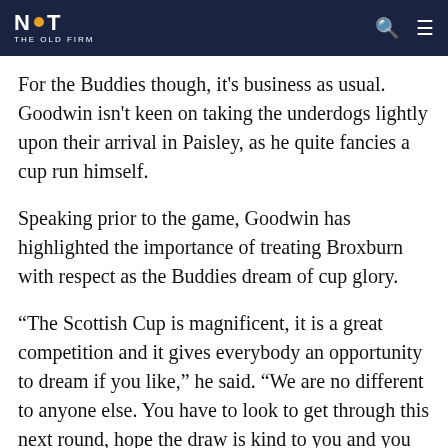NOT THE OLD FIRM
For the Buddies though, it's business as usual. Goodwin isn't keen on taking the underdogs lightly upon their arrival in Paisley, as he quite fancies a cup run himself.
Speaking prior to the game, Goodwin has highlighted the importance of treating Broxburn with respect as the Buddies dream of cup glory.
“The Scottish Cup is magnificent, it is a great competition and it gives everybody an opportunity to dream if you like,” he said. “We are no different to anyone else. You have to look to get through this next round, hope the draw is kind to you and you